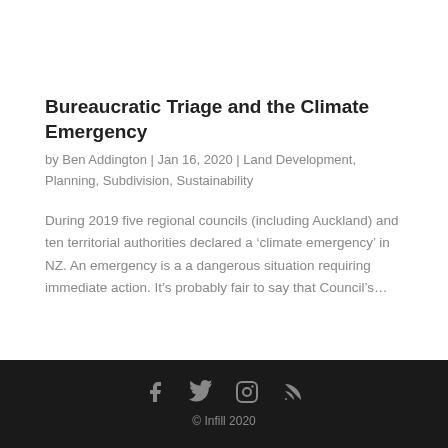Bureaucratic Triage and the Climate Emergency
by Ben Addington | Jan 16, 2020 | Land Development, Planning, Subdivision, Sustainability
During 2019 five regional councils (including Auckland) and ten territorial authorities declared a ‘climate emergency’ in NZ. An emergency is a a dangerous situation requiring immediate action. It’s probably fair to say that Council’s…
© Infill 2020